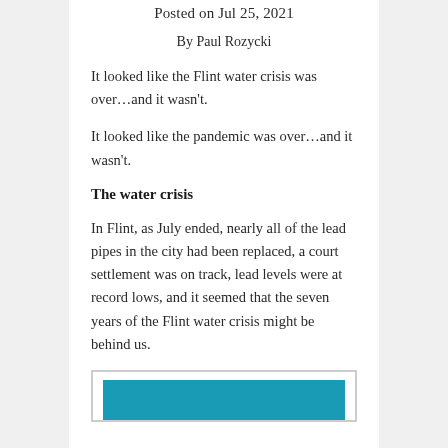Posted on Jul 25, 2021
By Paul Rozycki
It looked like the Flint water crisis was over…and it wasn't.
It looked like the pandemic was over…and it wasn't.
The water crisis
In Flint, as July ended, nearly all of the lead pipes in the city had been replaced, a court settlement was on track, lead levels were at record lows, and it seemed that the seven years of the Flint water crisis might be behind us.
[Figure (photo): Teal/blue colored image, partially visible at the bottom of the page]